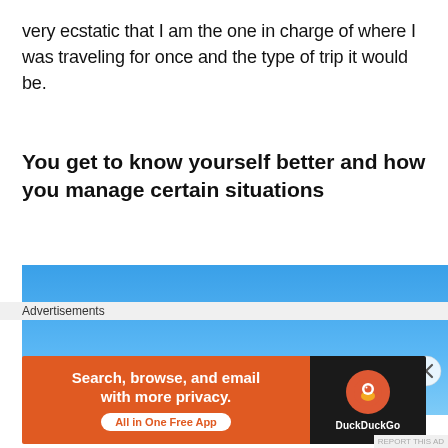very ecstatic that I am the one in charge of where I was traveling for once and the type of trip it would be.
You get to know yourself better and how you manage certain situations
[Figure (photo): A wide landscape photograph showing a clear bright blue sky, cropped to show primarily sky with a gradient from lighter blue at the horizon to deeper blue above.]
[Figure (screenshot): DuckDuckGo advertisement banner: orange left panel reading 'Search, browse, and email with more privacy. All in One Free App' and black right panel with DuckDuckGo logo and text.]
Advertisements